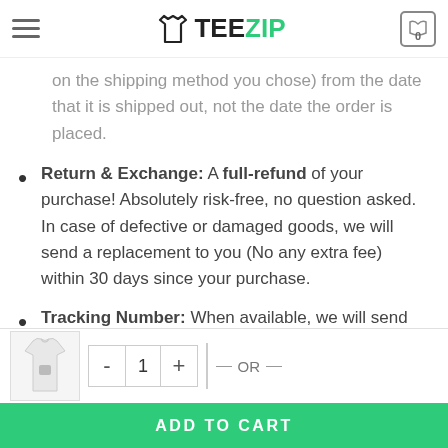TEEZIP
on the shipping method you chose) from the date that it is shipped out, not the date the order is placed.
Return & Exchange: A full-refund of your purchase! Absolutely risk-free, no question asked. In case of defective or damaged goods, we will send a replacement to you (No any extra fee) within 30 days since your purchase.
Tracking Number: When available, we will send you the tracking number with the confirmation email so that you can track the package online
Worldwide Shipping: At Teezip, we ship products to over 15K+ countries…